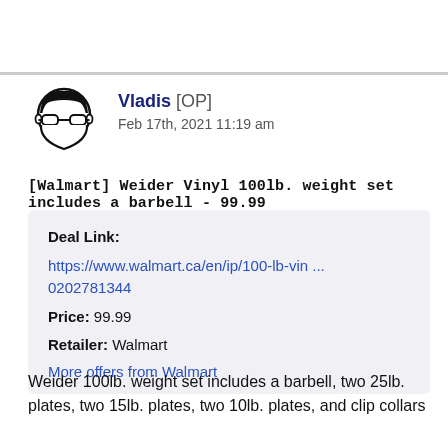[Figure (illustration): User avatar: line drawing of a person with glasses and dark hair]
Vladis [OP]
Feb 17th, 2021 11:19 am
[Walmart] Weider Vinyl 100lb. weight set includes a barbell - 99.99
Deal Link:
https://www.walmart.ca/en/ip/100-lb-vin ... 0202781344
Price: 99.99
Retailer: Walmart
More offers from Walmart
Weider 100lb. weight set includes a barbell, two 25lb. plates, two 15lb. plates, two 10lb. plates, and clip collars